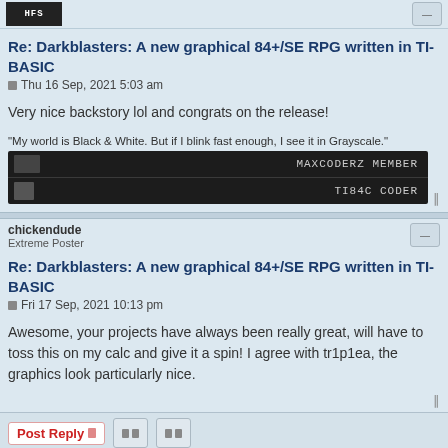HFS
Re: Darkblasters: A new graphical 84+/SE RPG written in TI-BASIC
Thu 16 Sep, 2021 5:03 am
Very nice backstory lol and congrats on the release!
[Figure (other): User signature banner: quote 'My world is Black & White. But if I blink fast enough, I see it in Grayscale.' with black banner showing MAXCODERZ MEMBER and TI84C CODER labels]
chickendude
Extreme Poster
Re: Darkblasters: A new graphical 84+/SE RPG written in TI-BASIC
Fri 17 Sep, 2021 10:13 pm
Awesome, your projects have always been really great, will have to toss this on my calc and give it a spin! I agree with tr1p1ea, the graphics look particularly nice.
Post Reply